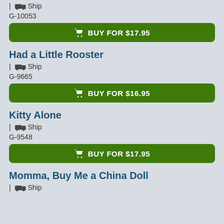| Ship
G-10053
BUY FOR $17.95
Had a Little Rooster
| Ship
G-9665
BUY FOR $16.95
Kitty Alone
| Ship
G-9548
BUY FOR $17.95
Momma, Buy Me a China Doll
| Ship